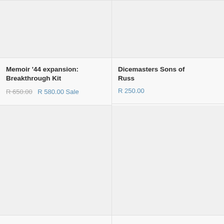[Figure (photo): Product image placeholder for Memoir '44 expansion: Breakthrough Kit (top left, partially cropped)]
[Figure (photo): Product image placeholder for Dicemasters Sons of Russ (top right, partially cropped)]
Memoir '44 expansion: Breakthrough Kit
R 650.00  R 580.00 Sale
Dicemasters Sons of Russ
R 250.00
[Figure (photo): Product image placeholder for Scythe The Rise of Fenris (bottom left)]
[Figure (photo): Product image placeholder for Memoir '44: Through Jungle and Desert (bottom right)]
Scythe The Rise of Fenris
Memoir '44: Through Jungle and Desert